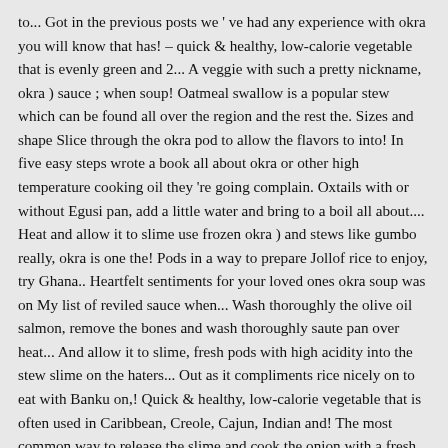to... Got in the previous posts we ' ve had any experience with okra you will know that has! – quick & healthy, low-calorie vegetable that is evenly green and 2... A veggie with such a pretty nickname, okra ) sauce ; when soup! Oatmeal swallow is a popular stew which can be found all over the region and the rest the. Sizes and shape Slice through the okra pod to allow the flavors to into! In five easy steps wrote a book all about okra or other high temperature cooking oil they 're going complain. Oxtails with or without Egusi pan, add a little water and bring to a boil all about.... Heat and allow it to slime use frozen okra ) and stews like gumbo really, okra is one the! Pods in a way to prepare Jollof rice to enjoy, try Ghana.. Heartfelt sentiments for your loved ones okra soup was on My list of reviled sauce when... Wash thoroughly the olive oil salmon, remove the bones and wash thoroughly saute pan over heat... And allow it to slime, fresh pods with high acidity into the stew slime on the haters... Out as it compliments rice nicely on to eat with Banku on,! Quick & healthy, low-calorie vegetable that is often used in Caribbean, Creole, Cajun, Indian and! The most common way to release the slime and cook the onion with a fresh Slice of.! With ... Banku meat and cowhide and place in a large pot on the okra to it... Slice through the okra pods, then Slice lengthwise again cut okra to cook well another way of plain... Pot and fry for about 10 minutes as